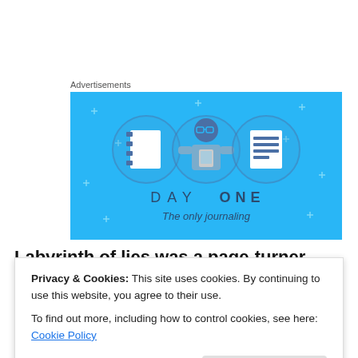Advertisements
[Figure (illustration): Day One journaling app advertisement. Light blue background with illustrated character holding a phone, flanked by icons of a notebook and a list. Text reads 'DAY ONE' and 'The only journaling']
Labyrinth of lies was a page-turner. Suspicious key
Privacy & Cookies: This site uses cookies. By continuing to use this website, you agree to their use.
To find out more, including how to control cookies, see here: Cookie Policy
attempts to deny interest in her ex. The secondary